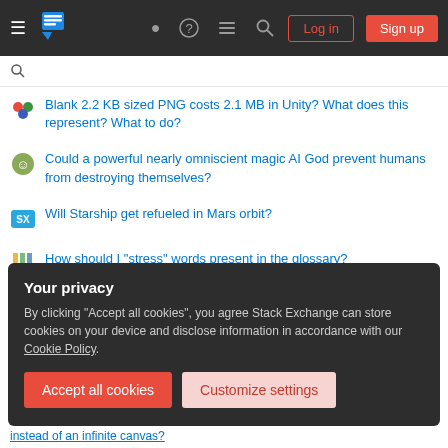Stack Exchange navigation bar with hamburger menu, logo, help, chat, search icons, Log in and Sign up buttons
Blank 2.2 KB sized PNG costs 2.1 MB in Unity? What does this represent? What to do?
Could a powerful nearly omniscient magic AI God prevent humans from destroying themselves?
Will Starship get refueled in Mars orbit?
How should I "stress" words present in the glossary?
4-20mA ADC, HV DC measurement & DC/DC PSUs schematic validation
how would one create a living pantry to use in an emergency
How could peasants protest against superhuman kings?
Your privacy
By clicking "Accept all cookies", you agree Stack Exchange can store cookies on your device and disclose information in accordance with our Cookie Policy.
instead of an infinite canvas?